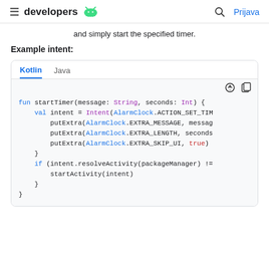developers [android icon] | Prijava
and simply start the specified timer.
Example intent:
[Figure (screenshot): Code block showing Kotlin tab selected with Java tab, dark mode and copy icons. Code: fun startTimer(message: String, seconds: Int) { val intent = Intent(AlarmClock.ACTION_SET_TIM putExtra(AlarmClock.EXTRA_MESSAGE, messag putExtra(AlarmClock.EXTRA_LENGTH, seconds putExtra(AlarmClock.EXTRA_SKIP_UI, true) } if (intent.resolveActivity(packageManager) != startActivity(intent) } }]